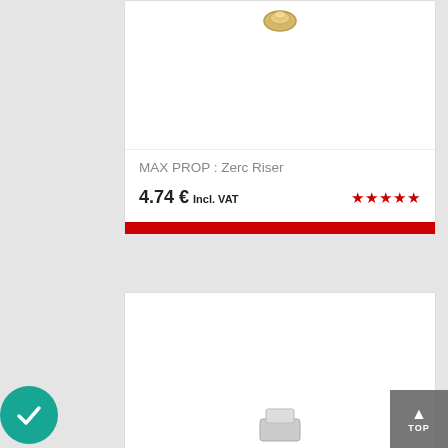[Figure (photo): Product image of MAX PROP Zerc Riser, partially visible at top of first card]
MAX PROP : Zerc Riser
4.74 € Incl. VAT
[Figure (other): Five red star rating icons]
ADD TO CART
[Figure (photo): Second product card image area, partially visible]
[Figure (other): Teal circular checkmark badge in bottom-left corner]
TOP